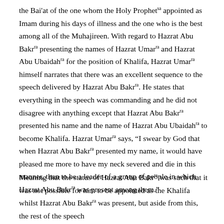the Bai'at of the one whom the Holy Prophetsa appointed as Imam during his days of illness and the one who is the best among all of the Muhajireen. With regard to Hazrat Abu Bakrra presenting the names of Hazrat Umarra and Hazrat Abu Ubaidahra for the position of Khalifa, Hazrat Umarra himself narrates that there was an excellent sequence to the speech delivered by Hazrat Abu Bakrra. He states that everything in the speech was commanding and he did not disagree with anything except that Hazrat Abu Bakrra presented his name and the name of Hazrat Abu Ubaidahra to become Khalifa. Hazrat Umarra says, “I swear by God that when Hazrat Abu Bakrra presented my name, it would have pleased me more to have my neck severed and die in this manner, than to be a leader of a group of people in which Hazrat Abu Bakrra was present among them.”
Meaning that the status of Hazrat Abu Bakrra was such that it was not possible for him to be appointed as the Khalifa whilst Hazrat Abu Bakrra was present, but aside from this, the rest of the speech